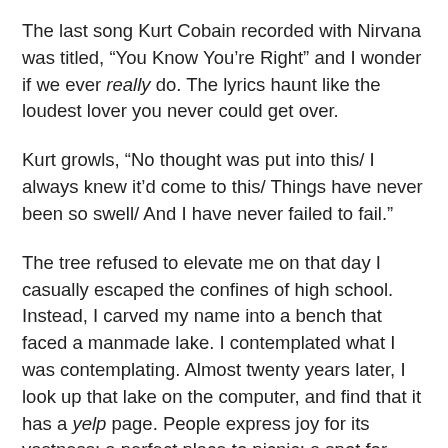The last song Kurt Cobain recorded with Nirvana was titled, “You Know You’re Right” and I wonder if we ever really do. The lyrics haunt like the loudest lover you never could get over.
Kurt growls, “No thought was put into this/ I always knew it’d come to this/ Things have never been so swell/ And I have never failed to fail.”
The tree refused to elevate me on that day I casually escaped the confines of high school. Instead, I carved my name into a bench that faced a manmade lake. I contemplated what I was contemplating. Almost twenty years later, I look up that lake on the computer, and find that it has a yelp page. People express joy for its vastness; a perfect place to picnic; a spot for fishing or handholding. I ponder submitting my thoughts on the trees